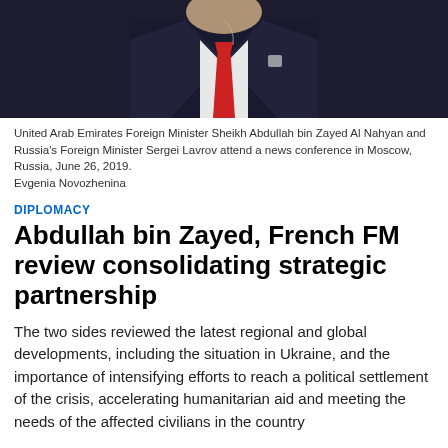[Figure (photo): Photo of a man in a dark suit with a red tie, partially visible from chest up against a dark background.]
United Arab Emirates Foreign Minister Sheikh Abdullah bin Zayed Al Nahyan and Russia's Foreign Minister Sergei Lavrov attend a news conference in Moscow, Russia, June 26, 2019.
Evgenia Novozhenina
DIPLOMACY
Abdullah bin Zayed, French FM review consolidating strategic partnership
The two sides reviewed the latest regional and global developments, including the situation in Ukraine, and the importance of intensifying efforts to reach a political settlement of the crisis, accelerating humanitarian aid and meeting the needs of the affected civilians in the country
Hatem Mohamed, WAM (Emirates News Agency)